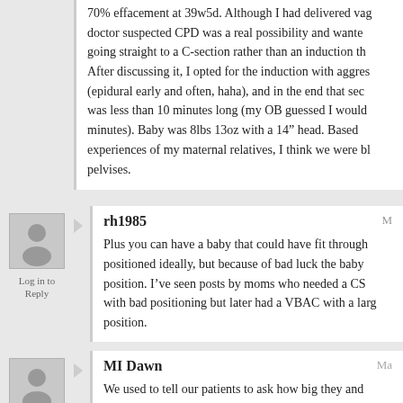70% effacement at 39w5d. Although I had delivered vag... doctor suspected CPD was a real possibility and wanted... going straight to a C-section rather than an induction tha... After discussing it, I opted for the induction with aggress... (epidural early and often, haha), and in the end that sec... was less than 10 minutes long (my OB guessed I would... minutes). Baby was 8lbs 13oz with a 14" head. Based o... experiences of my maternal relatives, I think we were bl... pelvises.
rh1985
Plus you can have a baby that could have fit through... positioned ideally, but because of bad luck the baby... position. I've seen posts by moms who needed a CS... with bad positioning but later had a VBAC with a lar... position.
Log in to Reply
MI Dawn
We used to tell our patients to ask how big they and...
Log in to